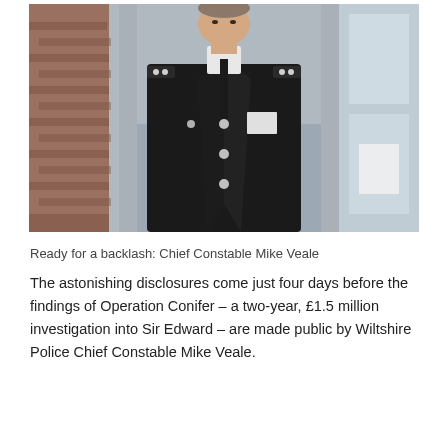[Figure (photo): A man in a British police chief constable uniform — dark jacket with epaulettes, white collar shirt, dark tie, and badge — photographed outdoors in front of a blurred background including brick wall and glass door.]
Ready for a backlash: Chief Constable Mike Veale
The astonishing disclosures come just four days before the findings of Operation Conifer – a two-year, £1.5 million investigation into Sir Edward – are made public by Wiltshire Police Chief Constable Mike Veale.